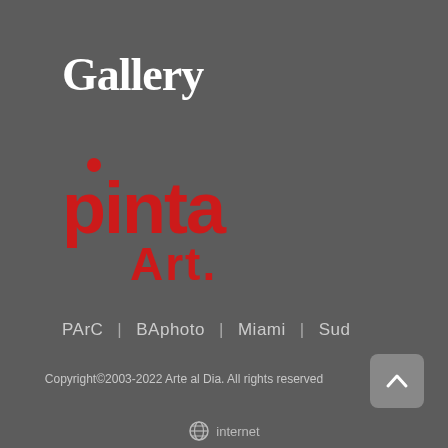Gallery
[Figure (logo): Pinta Art logo in red with a dot above the letter i and 'Art.' in red below]
PArC  |  BAphoto  |  Miami  |  Sud
Copyright©2003-2022 Arte al Dia. All rights reserved
[Figure (other): internet logo/icon with partial text 'internet']